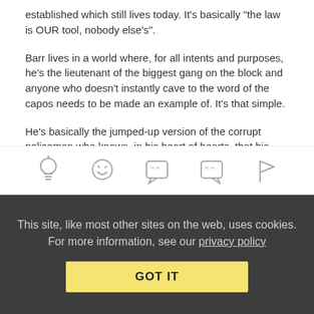established which still lives today. It’s basically “the law is OUR tool, nobody else’s”.
Barr lives in a world where, for all intents and purposes, he’s the lieutenant of the biggest gang on the block and anyone who doesn’t instantly cave to the word of the capos needs to be made an example of. It’s that simple.
He’s basically the jumped-up version of the corrupt policeman who knows, in his heart of hearts, that his word is law…and who enjoys that power trip. When his self-importance is questioned he reacts badly.
Reply | View in chronology
[Figure (infographic): Icon bar with five icons: lightbulb, laughing emoji, open quote speech bubble, close quote speech bubble, flag]
This site, like most other sites on the web, uses cookies. For more information, see our privacy policy
GOT IT